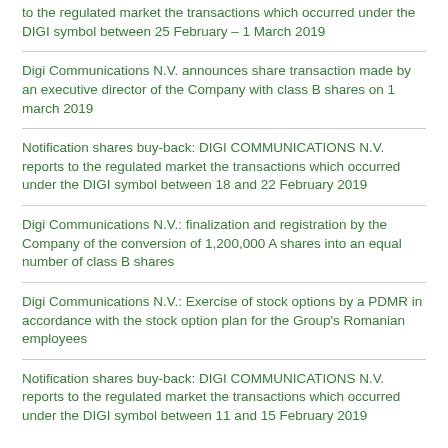to the regulated market the transactions which occurred under the DIGI symbol between 25 February – 1 March 2019
Digi Communications N.V. announces share transaction made by an executive director of the Company with class B shares on 1 march 2019
Notification shares buy-back: DIGI COMMUNICATIONS N.V. reports to the regulated market the transactions which occurred under the DIGI symbol between 18 and 22 February 2019
Digi Communications N.V.: finalization and registration by the Company of the conversion of 1,200,000 A shares into an equal number of class B shares
Digi Communications N.V.: Exercise of stock options by a PDMR in accordance with the stock option plan for the Group's Romanian employees
Notification shares buy-back: DIGI COMMUNICATIONS N.V. reports to the regulated market the transactions which occurred under the DIGI symbol between 11 and 15 February 2019